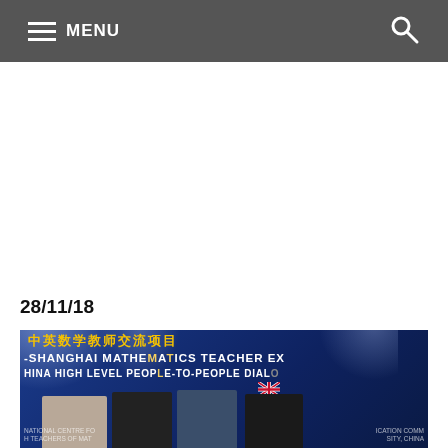MENU
28/11/18
[Figure (photo): Group photo of four people (one woman, three men) standing in front of a banner reading 'China-Shanghai Mathematics Teacher Exchange' and '中英数学教师交流项目', with a UK flag visible. The event appears to be the UK-China High Level People-to-People Dialogue.]